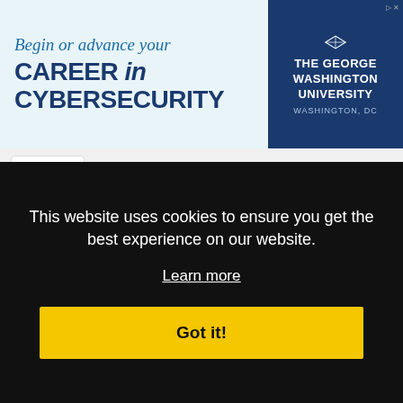[Figure (other): Advertisement banner for The George Washington University cybersecurity program. Left side: 'Begin or advance your CAREER in CYBERSECURITY'. Right side: dark blue panel with THE GEORGE WASHINGTON UNIVERSITY WASHINGTON, DC logo.]
Santa Monica, CA Jobs
Simi Valley, CA Jobs
South Gate, CA Jobs
Thousand Oaks, CA Jobs
Torrance, CA Jobs
Tustin, CA Jobs
Ventura, CA Jobs
This website uses cookies to ensure you get the best experience on our website. Learn more
Got it!